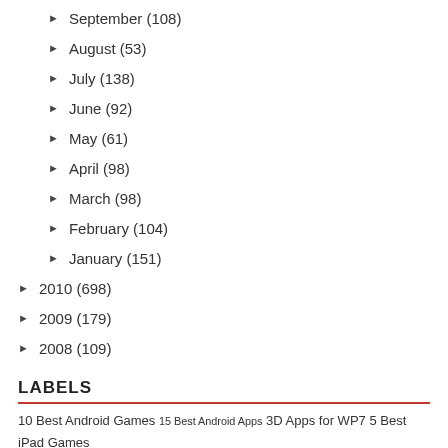September (108)
August (53)
July (138)
June (92)
May (61)
April (98)
March (98)
February (104)
January (151)
2010 (698)
2009 (179)
2008 (109)
LABELS
10 Best Android Games 15 Best Android Apps 3D Apps for WP7 5 Best iPad Games 5 Best iPhone Games Acer Android Android apps android apps of the day